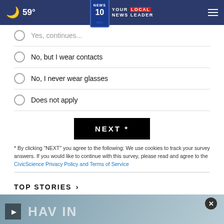59° NEWS 10 YOUR LOCAL NEWS LEADER
Yes, continues... (truncated)
No, but I wear contacts
No, I never wear glasses
Does not apply
NEXT *
* By clicking "NEXT" you agree to the following: We use cookies to track your survey answers. If you would like to continue with this survey, please read and agree to the CivicScience Privacy Policy and Terms of Service
TOP STORIES ›
[Figure (screenshot): News story thumbnail with play button overlay showing partially visible text 'HAVE' and 'VE' with advertisement banner for Certified Pre-Owned Toyota 7YR/100k Mile Powertrain Warranty and Lia Toyota of Colonie]